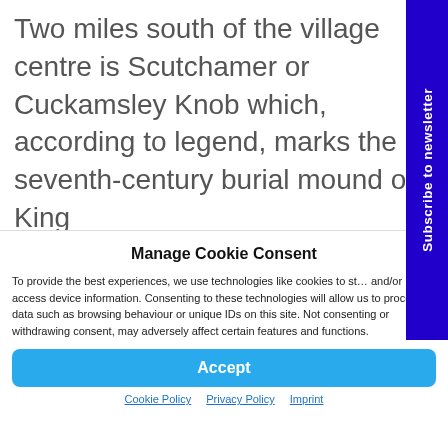Two miles south of the village centre is Scutchamer or Cuckamsley Knob which, according to legend, marks the seventh-century burial mound of King
Manage Cookie Consent
To provide the best experiences, we use technologies like cookies to store and/or access device information. Consenting to these technologies will allow us to process data such as browsing behaviour or unique IDs on this site. Not consenting or withdrawing consent, may adversely affect certain features and functions.
Accept
Cookie Policy   Privacy Policy   Imprint